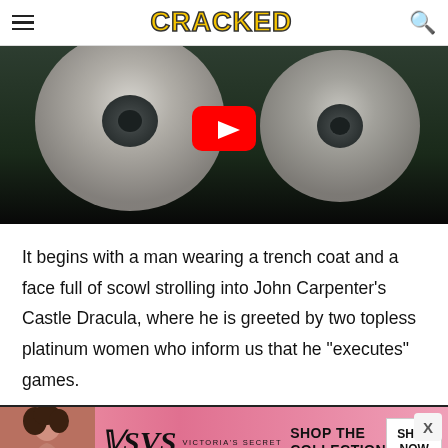CRACKED
[Figure (screenshot): YouTube video thumbnail showing two toilet paper rolls side by side on a dark background, with a red YouTube play button overlay in the center]
It begins with a man wearing a trench coat and a face full of scowl strolling into John Carpenter's Castle Dracula, where he is greeted by two topless platinum women who inform us that he "executes" games.
[Figure (photo): Victoria's Secret advertisement banner with a woman model on the left, VS logo, Victoria's Secret text, 'SHOP THE COLLECTION' text, and a 'SHOP NOW' white button on a pink background]